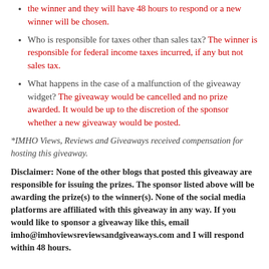the winner and they will have 48 hours to respond or a new winner will be chosen.
Who is responsible for taxes other than sales tax? The winner is responsible for federal income taxes incurred, if any but not sales tax.
What happens in the case of a malfunction of the giveaway widget? The giveaway would be cancelled and no prize awarded. It would be up to the discretion of the sponsor whether a new giveaway would be posted.
*IMHO Views, Reviews and Giveaways received compensation for hosting this giveaway.
Disclaimer: None of the other blogs that posted this giveaway are responsible for issuing the prizes. The sponsor listed above will be awarding the prize(s) to the winner(s). None of the social media platforms are affiliated with this giveaway in any way. If you would like to sponsor a giveaway like this, email imho@imhoviewsreviewsandgiveaways.com and I will respond within 48 hours.